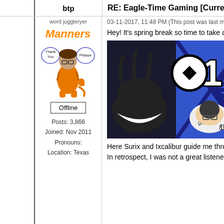btp
RE: Eagle-Time Gaming [Current Episode
word juggleryer
03-11-2017, 11:48 PM (This post was last m
[Figure (illustration): Cartoon avatar of a person dressed in an orange tiger outfit with speech bubbles saying 'Thank You' and 'Please', with orange text 'Manners' at the top]
Offline
Posts: 3,866
Joined: Nov 2011
Pronouns:
Location: Texas
Hey! It's spring break so time to take a b
[Figure (illustration): Blue and black graphic artwork showing animated characters with bold white outlines on a blue striped background, with the number 10 visible]
Here Surix and Ixcalibur guide me throug
In retrospect, I was not a great listener.